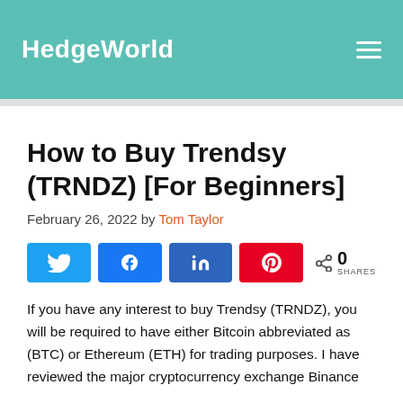HedgeWorld
How to Buy Trendsy (TRNDZ) [For Beginners]
February 26, 2022 by Tom Taylor
[Figure (other): Social share buttons: Twitter, Facebook, LinkedIn, Pinterest, with share count 0 SHARES]
If you have any interest to buy Trendsy (TRNDZ), you will be required to have either Bitcoin abbreviated as (BTC) or Ethereum (ETH) for trading purposes. I have reviewed the major cryptocurrency exchange Binance